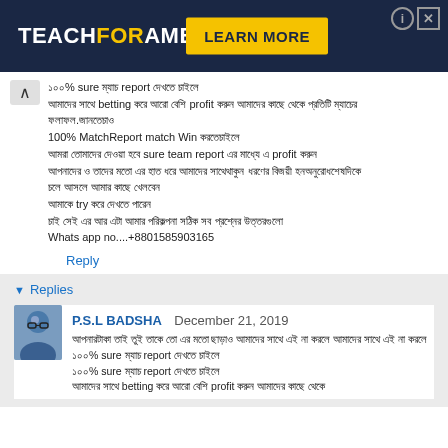[Figure (screenshot): Teach For America advertisement banner with dark navy background, white and yellow text logo, yellow Learn More button, and close/info icons.]
১০০% sure ম্যাচ report দেখতে চাইলে আমাদের সাথে betting করে আরো বেশি profit করুন আমাদের কাছে থেকে প্রতিটি ম্যাচের.সাফল্য
100% MatchReport match Win করতেচাইলে
আমরা তোমাদের দেওয়া হবে sure team report এর মাধ্যে এ profit করুন
আপনাদের ও তাদের মতো এর হাত ধরে আমাদের সাথেথাকুন ধরণের বিজয়ী হনঅনুরোধশেষদিকে
চলে আসলে আমার কাছে খেলবেন
আমাকে try করে দেখতে পারেন
চাই সেই এর আর এটা আমার পরিকল্পনা সঠিক সব প্রশ্নের উত্তরগুলো
Whats app no....+8801585903165
Reply
Replies
P.S.L BADSHA  December 21, 2019
আপনারটাকা তাই তুই তাকে তো এর মতো ছাড়াও আমাদের সাথে এই না করলে ১০০% sure ম্যাচ report দেখতে চাইলে
আমাদের সাথে betting করে আরো বেশি profit করুন আমাদের কাছে থেকে